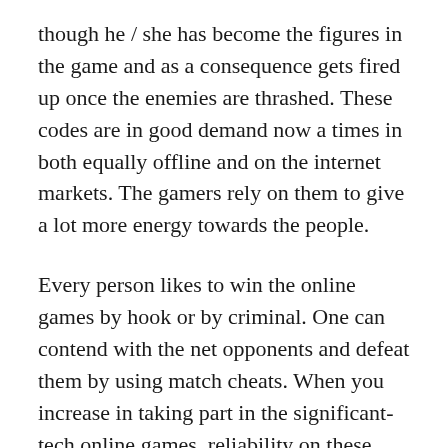though he / she has become the figures in the game and as a consequence gets fired up once the enemies are thrashed. These codes are in good demand now a times in both equally offline and on the internet markets. The gamers rely on them to give a lot more energy towards the people.
Every person likes to win the online games by hook or by criminal. One can contend with the net opponents and defeat them by using match cheats. When you increase in taking part in the significant-tech online games, reliability on these gets much less. For this reason, the cheats can also be handy in sharpening the talents of gamers. All round, it might be stated that the sport cheat units are extremely beneficial and they make the players more aggressive. As a result of them, participating in video games has grown to be a great deal more